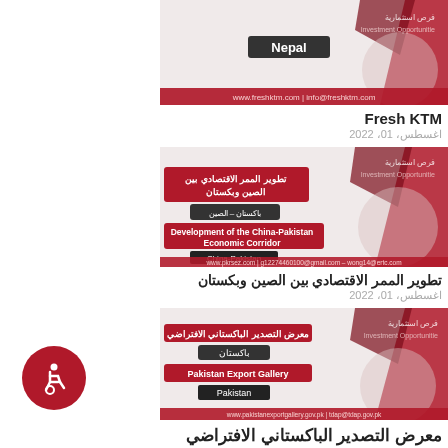[Figure (illustration): Fresh KTM banner card with Nepal label, dark red and grey geometric shapes, website www.freshktm.com | info@freshktm.com]
Fresh KTM
اغسطس، 01، 2022
[Figure (illustration): Development of the China-Pakistan Economic Corridor banner, Arabic and English labels, dark red geometric design, website www.pkrsez.com | g12274460100@gmail.com - wong14@ertc.com]
تطوير الممر الاقتصادي بين الصين وبكستان
اغسطس، 01، 2022
[Figure (illustration): Pakistan Export Gallery banner, Arabic and English labels, dark red geometric design, website www.pakistanexportgallery.gov.pk | tdap@tdap.gov.pk]
معرض التصدير الباكستاني الافتراضي